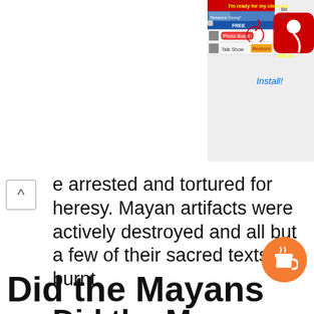[Figure (screenshot): Advertisement banner for BitLife app showing 'I'm ready for my close-up' with Photo Boost and Talk Show options, BitLife logo, and Install button]
e arrested and tortured for heresy. Mayan artifacts were actively destroyed and all but a few of their sacred texts burnt.
Did the Mayans live in the jungle?
Yes the Maya lived in the rain forest of Central America. This area is now in the countries of Mexico Guatemala Belize Nicaragua and Honduras.
Did the Mayans come